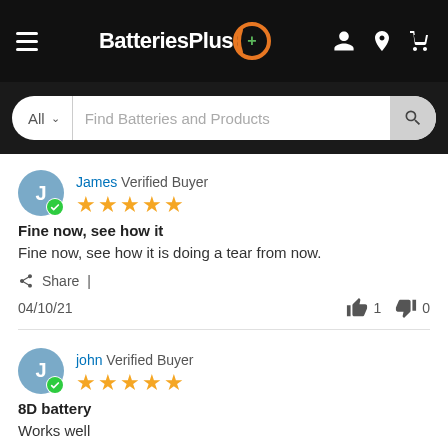[Figure (screenshot): BatteriesPlus website navigation bar with logo, hamburger menu, account, location and cart icons]
[Figure (screenshot): Search bar with 'All' dropdown and 'Find Batteries and Products' placeholder text]
James Verified Buyer
[Figure (other): 5 orange stars rating]
Fine now, see how it
Fine now, see how it is doing a tear from now.
Share |
04/10/21    👍 1  👎 0
john Verified Buyer
[Figure (other): 5 orange stars rating]
8D battery
Works well